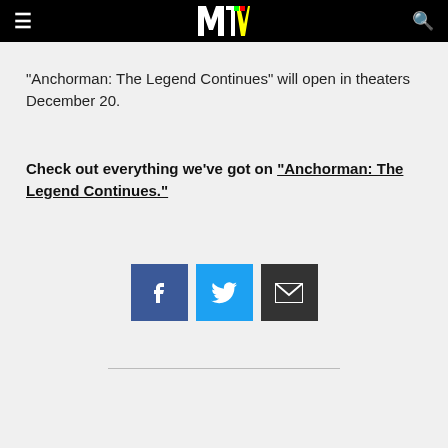MTV
"Anchorman: The Legend Continues" will open in theaters December 20.
Check out everything we've got on "Anchorman: The Legend Continues."
[Figure (infographic): Social sharing icons: Facebook (blue square with f), Twitter (cyan square with bird), Email (dark square with envelope)]